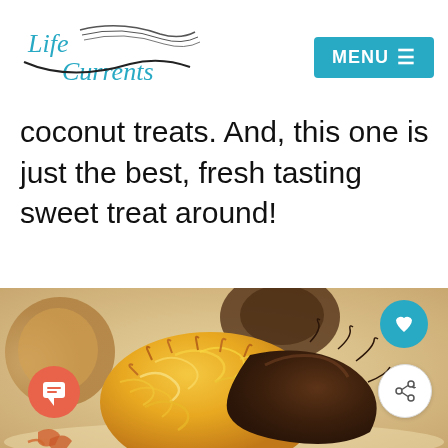Life Currents | MENU
coconut treats. And, this one is just the best, fresh tasting sweet treat around!
[Figure (photo): Close-up photo of a coconut macaroon dipped in chocolate, with blurred macaroons in the background on a light surface.]